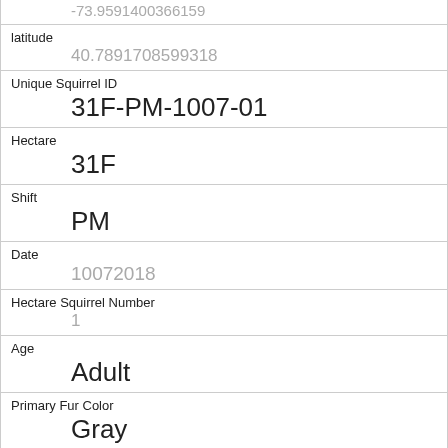-73.9591400366159
latitude
40.7891708599318
Unique Squirrel ID
31F-PM-1007-01
Hectare
31F
Shift
PM
Date
10072018
Hectare Squirrel Number
1
Age
Adult
Primary Fur Color
Gray
Highlight Fur Color
White
Combination of Primary and Highlight Color
Gray+White